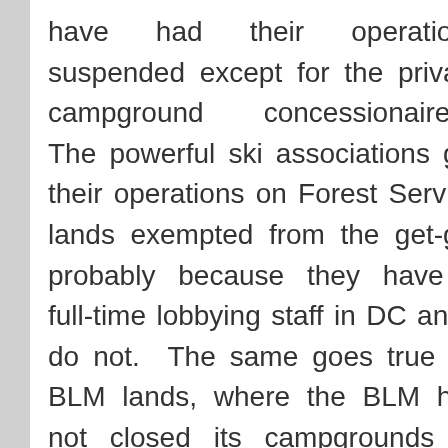have had their operations suspended except for the private campground concessionaires. The powerful ski associations got their operations on Forest Service lands exempted from the get-go, probably because they have a full-time lobbying staff in DC and I do not. The same goes true for BLM lands, where the BLM has not closed its campgrounds or parks to the public. And the same goes true now for the Grand Canyon NP, which has been reopened by the state of Arizona. In fact, we may be the only